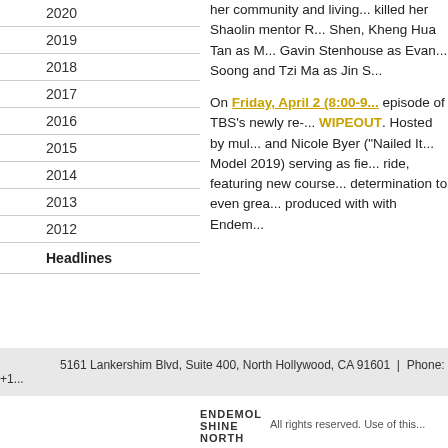2020
2019
2018
2017
2016
2015
2014
2013
2012
Headlines
killed her Shaolin mentor R... Shen, Kheng Hua Tan as M... Gavin Stenhouse as Evan... Soong and Tzi Ma as Jin S...
On Friday, April 2 (8:00-9... episode of TBS's newly re-... WIPEOUT. Hosted by mul... and Nicole Byer (“Nailed It... Model 2019) serving as fie... ride, featuring new course... determination to even grea... produced with with Endem...
5161 Lankershim Blvd, Suite 400, North Hollywood, CA 91601  |  Phone: +1...
All rights reserved. Use of this...